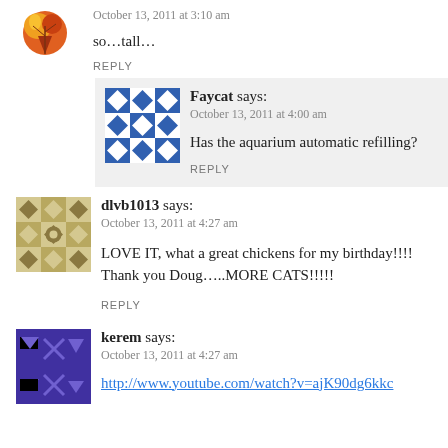October 13, 2011 at 3:10 am
so…tall…
REPLY
Faycat says:
October 13, 2011 at 4:00 am
Has the aquarium automatic refilling?
REPLY
dlvb1013 says:
October 13, 2011 at 4:27 am
LOVE IT, what a great chickens for my birthday!!!! Thank you Doug…..MORE CATS!!!!!
REPLY
kerem says:
October 13, 2011 at 4:27 am
http://www.youtube.com/watch?v=ajK90dg6kkc